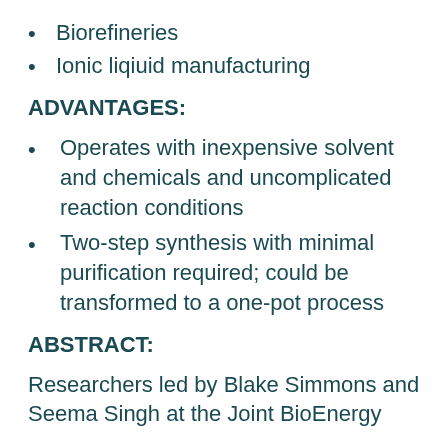Biorefineries
Ionic liqiuid manufacturing
ADVANTAGES:
Operates with inexpensive solvent and chemicals and uncomplicated reaction conditions
Two-step synthesis with minimal purification required; could be transformed to a one-pot process
ABSTRACT:
Researchers led by Blake Simmons and Seema Singh at the Joint BioEnergy...